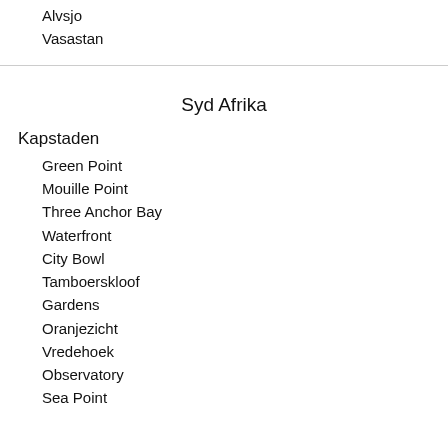Alvsjo
Vasastan
Syd Afrika
Kapstaden
Green Point
Mouille Point
Three Anchor Bay
Waterfront
City Bowl
Tamboerskloof
Gardens
Oranjezicht
Vredehoek
Observatory
Sea Point